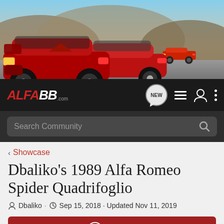[Figure (photo): Banner image showing three Alfa Romeo cars on a road — a modern red sedan (Giulia), a red sports car (4C Spider), and a classic red convertible Spider — against a mountain backdrop]
ALFABB.com — navigation bar with NEW chat badge, list icon, user icon, and more icon
Search Community
< Showcase
Dbaliko's 1989 Alfa Romeo Spider Quadrifoglio
Dbaliko · Sep 15, 2018 · Updated Nov 11, 2019
+ Follow